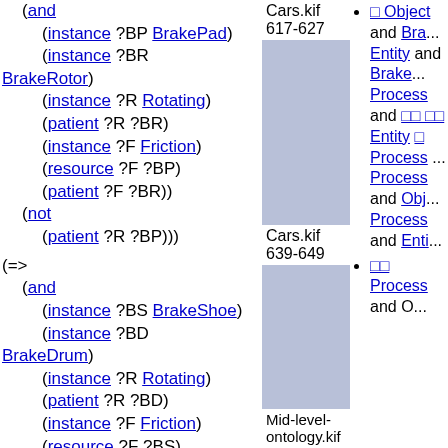(and (instance ?BP BrakePad) (instance ?BR BrakeRotor) (instance ?R Rotating) (patient ?R ?BR) (instance ?F Friction) (resource ?F ?BP) (patient ?F ?BR)) (not (patient ?R ?BP)))
Cars.kif 617-627
□ Object and Bra... Entity and Brake... Process and □□ □□ Entity □ Process ... Process and Obj... Process and Enti...
□□ Process and O...
(=> (and (instance ?BS BrakeShoe) (instance ?BD BrakeDrum) (instance ?R Rotating) (patient ?R ?BD) (instance ?F Friction) (resource ?F ?BS) (patient ?F ?BD)) (not (patient ?R ?BS)))
Cars.kif 639-649
□ Object and Bra... Entity and Brake... Process and □□ □□ Entity □ Process ... Process and Obj... Process and Enti...
□□ Process and O...
(=> (and
Mid-level-ontology.kif
□ Process and □□...